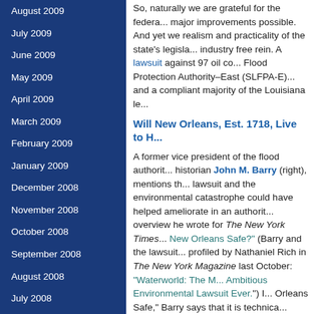August 2009
July 2009
June 2009
May 2009
April 2009
March 2009
February 2009
January 2009
December 2008
November 2008
October 2008
September 2008
August 2008
July 2008
June 2008
May 2008
April 2008
March 2008
So, naturally we are grateful for the federal... major improvements possible. And yet we... realism and practicality of the state's legisla... industry free rein. A lawsuit against 97 oil co... Flood Protection Authority–East (SLFPA-E)... and a compliant majority of the Louisiana le...
Will New Orleans, Est. 1718, Live to H...
A former vice president of the flood authorit... historian John M. Barry (right), mentions th... lawsuit and the environmental catastrophe... could have helped ameliorate in an authorit... overview he wrote for The New York Times... New Orleans Safe?" (Barry and the lawsuit... profiled by Nathaniel Rich in The New York... Magazine last October: "Waterworld: The M... Ambitious Environmental Lawsuit Ever.") I... Orleans Safe," Barry says that it is technica... geologically possible for New Orleans to su... despite the odds, if the right steps are take... by "living with water" and also by intelligent... diversions to rebuild sedimentary deposits... Mississippi River.
But then he gives a sober assessment:
... the political reality is that taxpaye...